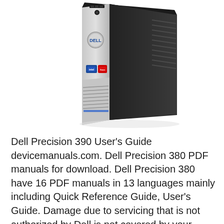[Figure (photo): Photo of a Dell Precision workstation tower computer in silver and black, viewed from a front-right angle. The Dell logo badge is visible on the front panel along with Intel branding stickers and ventilation grilles.]
Dell Precision 390 User's Guide devicemanuals.com. Dell Precision 380 PDF manuals for download. Dell Precision 380 have 16 PDF manuals in 13 languages mainly including Quick Reference Guide, User's Guide. Damage due to servicing that is not authorized by Dell is not covered by your warranty. Read and follow these safety instructions that came with the